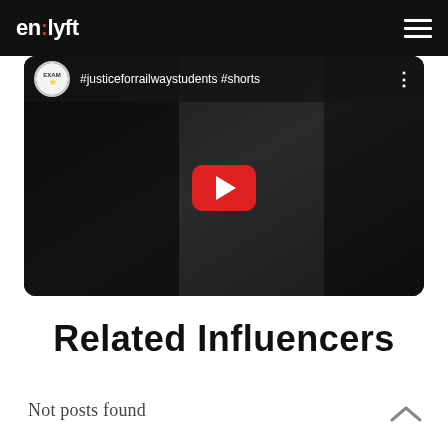en:lyft
[Figure (screenshot): YouTube video thumbnail embedded in a dark rounded container, showing a video titled '#justiceforrailwaystudents #shorts' with a channel icon, video title, three-dot menu, and a red YouTube play button over a dark background scene.]
Related Influencers
Not posts found